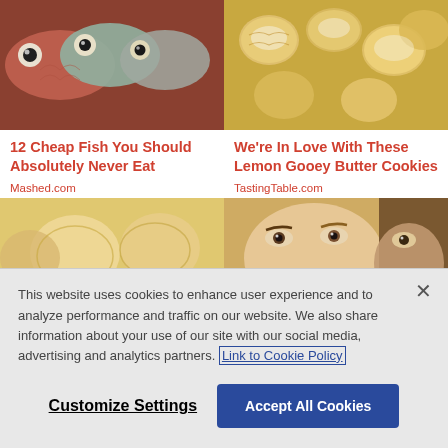[Figure (photo): Close-up of multiple fish heads with visible eyes, red and grey coloring, arranged together]
12 Cheap Fish You Should Absolutely Never Eat
Mashed.com
[Figure (photo): Close-up of lemon gooey butter cookies, golden and crinkled, dusted with powdered sugar]
We're In Love With These Lemon Gooey Butter Cookies
TastingTable.com
[Figure (photo): Partial view of food dish, appears to be cookies or savory items on a plate]
[Figure (photo): Partial view of a person's face, blonde hair visible, partially cropped]
This website uses cookies to enhance user experience and to analyze performance and traffic on our website. We also share information about your use of our site with our social media, advertising and analytics partners. Link to Cookie Policy
Customize Settings
Accept All Cookies